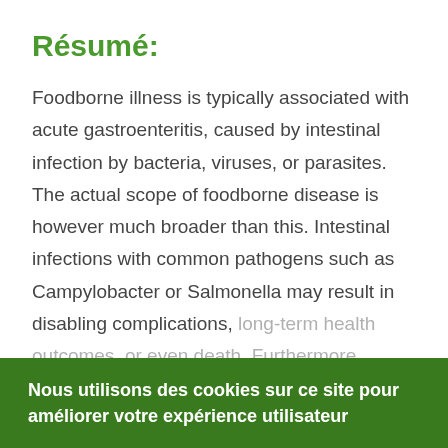Résumé:
Foodborne illness is typically associated with acute gastroenteritis, caused by intestinal infection by bacteria, viruses, or parasites. The actual scope of foodborne disease is however much broader than this. Intestinal infections with common pathogens such as Campylobacter or Salmonella may result in disabling complications, long-term health outcomes, or even death. Furthermore, foodborne hazards include a broad range of microbiological and chemical agents.
Nous utilisons des cookies sur ce site pour améliorer votre expérience utilisateur